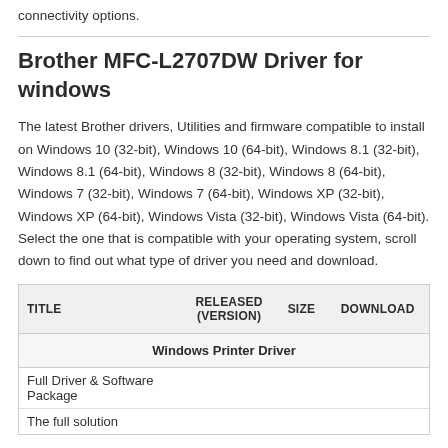connectivity options.
Brother MFC-L2707DW Driver for windows
The latest Brother drivers, Utilities and firmware compatible to install on Windows 10 (32-bit), Windows 10 (64-bit), Windows 8.1 (32-bit), Windows 8.1 (64-bit), Windows 8 (32-bit), Windows 8 (64-bit), Windows 7 (32-bit), Windows 7 (64-bit), Windows XP (32-bit), Windows XP (64-bit), Windows Vista (32-bit), Windows Vista (64-bit). Select the one that is compatible with your operating system, scroll down to find out what type of driver you need and download.
| TITLE | RELEASED (VERSION) | SIZE | DOWNLOAD |
| --- | --- | --- | --- |
| Windows Printer Driver |  |  |  |
| Full Driver & Software Package |  |  |  |
| The full solution |  |  |  |